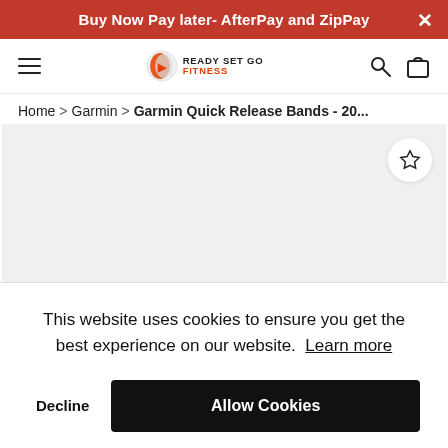Buy Now Pay later- AfterPay and ZipPay
[Figure (logo): Ready Set Go Fitness logo with navigation icons (hamburger menu, search, cart)]
Home > Garmin > Garmin Quick Release Bands - 20...
[Figure (photo): Product image area (gray background) with wishlist star button]
This website uses cookies to ensure you get the best experience on our website. Learn more
Decline  Allow Cookies